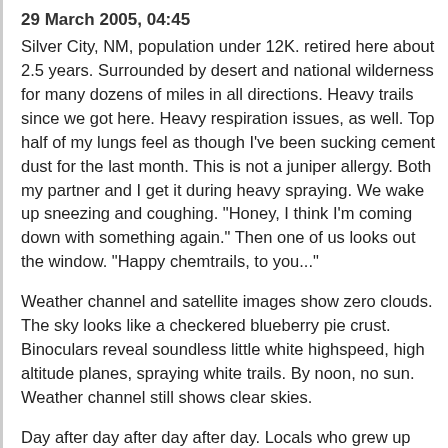29 March 2005, 04:45
Silver City, NM, population under 12K. retired here about 2.5 years. Surrounded by desert and national wilderness for many dozens of miles in all directions. Heavy trails since we got here. Heavy respiration issues, as well. Top half of my lungs feel as though I've been sucking cement dust for the last month. This is not a juniper allergy. Both my partner and I get it during heavy spraying. We wake up sneezing and coughing. "Honey, I think I'm coming down with something again." Then one of us looks out the window. "Happy chemtrails, to you..."
Weather channel and satellite images show zero clouds. The sky looks like a checkered blueberry pie crust. Binoculars reveal soundless little white highspeed, high altitude planes, spraying white trails. By noon, no sun. Weather channel still shows clear skies.
Day after day after day after day. Locals who grew up here say this never happened until the last few years.